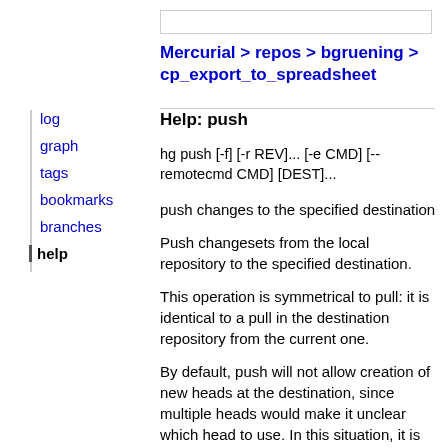Mercurial > repos > bgruening > cp_export_to_spreadsheet
Help: push
hg push [-f] [-r REV]... [-e CMD] [--remotecmd CMD] [DEST]...
push changes to the specified destination
Push changesets from the local repository to the specified destination.
This operation is symmetrical to pull: it is identical to a pull in the destination repository from the current one.
By default, push will not allow creation of new heads at the destination, since multiple heads would make it unclear which head to use. In this situation, it is recommended to pull and merge before pushing.
log
graph
tags
bookmarks
branches
help